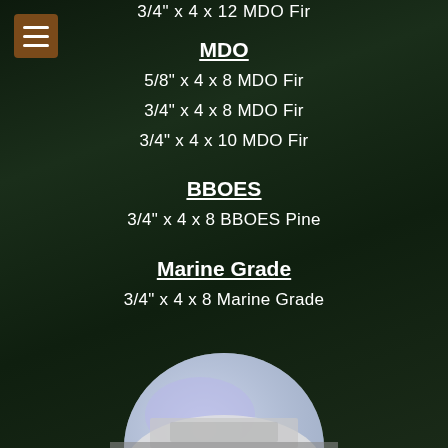3/4" x 4 x 12 MDO Fir
MDO
5/8" x 4 x 8 MDO Fir
3/4" x 4 x 8 MDO Fir
3/4" x 4 x 10 MDO Fir
BBOES
3/4" x 4 x 8 BBOES Pine
Marine Grade
3/4" x 4 x 8 Marine Grade
[Figure (photo): Lumber yard background with dark green/brown interior. Partial globe/logo visible at bottom center.]